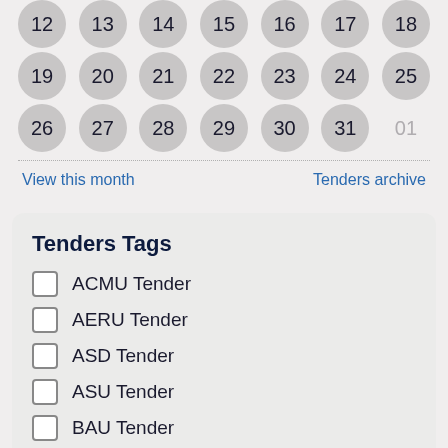[Figure (other): Calendar grid showing days 12-18, 19-25, 26-31 and 01, displayed as grey circles]
View this month
Tenders archive
Tenders Tags
ACMU Tender
AERU Tender
ASD Tender
ASU Tender
BAU Tender
BSD Tender